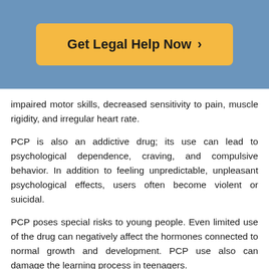[Figure (other): Blue banner with an orange/yellow rounded-rectangle button reading 'Get Legal Help Now >']
impaired motor skills, decreased sensitivity to pain, muscle rigidity, and irregular heart rate.
PCP is also an addictive drug; its use can lead to psychological dependence, craving, and compulsive behavior. In addition to feeling unpredictable, unpleasant psychological effects, users often become violent or suicidal.
PCP poses special risks to young people. Even limited use of the drug can negatively affect the hormones connected to normal growth and development. PCP use also can damage the learning process in teenagers.
Consuming large amounts of PCP can lead to seizures, coma, and even death. When taken in high doses, the